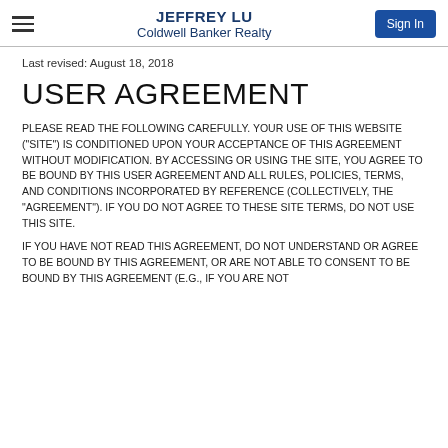JEFFREY LU
Coldwell Banker Realty
Last revised: August 18, 2018
USER AGREEMENT
PLEASE READ THE FOLLOWING CAREFULLY. YOUR USE OF THIS WEBSITE ("SITE") IS CONDITIONED UPON YOUR ACCEPTANCE OF THIS AGREEMENT WITHOUT MODIFICATION. BY ACCESSING OR USING THE SITE, YOU AGREE TO BE BOUND BY THIS USER AGREEMENT AND ALL RULES, POLICIES, TERMS, AND CONDITIONS INCORPORATED BY REFERENCE (COLLECTIVELY, THE "AGREEMENT"). IF YOU DO NOT AGREE TO THESE SITE TERMS, DO NOT USE THIS SITE.
IF YOU HAVE NOT READ THIS AGREEMENT, DO NOT UNDERSTAND OR AGREE TO BE BOUND BY THIS AGREEMENT, OR ARE NOT ABLE TO CONSENT TO BE BOUND BY THIS AGREEMENT (E.G., IF YOU ARE NOT